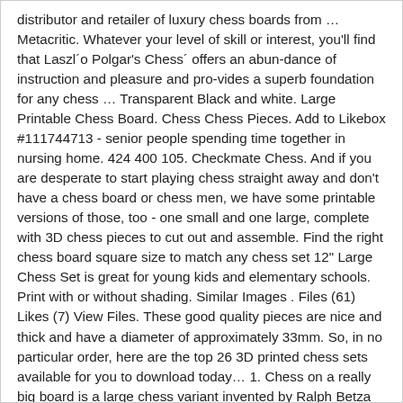distributor and retailer of luxury chess boards from … Metacritic. Whatever your level of skill or interest, you'll find that Laszl´o Polgar's Chess´ offers an abun-dance of instruction and pleasure and pro-vides a superb foundation for any chess … Transparent Black and white. Large Printable Chess Board. Chess Chess Pieces. Add to Likebox #111744713 - senior people spending time together in nursing home. 424 400 105. Checkmate Chess. And if you are desperate to start playing chess straight away and don't have a chess board or chess men, we have some printable versions of those, too - one small and one large, complete with 3D chess pieces to cut out and assemble. Find the right chess board square size to match any chess set 12" Large Chess Set is great for young kids and elementary schools. Print with or without shading. Similar Images . Files (61) Likes (7) View Files. These good quality pieces are nice and thick and have a diameter of approximately 33mm. So, in no particular order, here are the top 26 3D printed chess sets available for you to download today… 1. Chess on a really big board is a large chess variant invented by Ralph Betza around 1996. Checkmate. Free Printable Board Game...